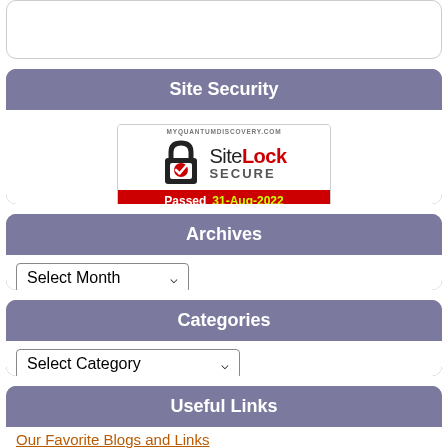Site Security
[Figure (other): SiteLock Secure badge showing MYQUANTUMDISCOVERY.COM, SiteLock SECURE logo with padlock, Passed 31-Aug-2022]
Archives
Select Month (dropdown)
Categories
Select Category (dropdown)
Useful Links
Our Favorite Blogs and Links